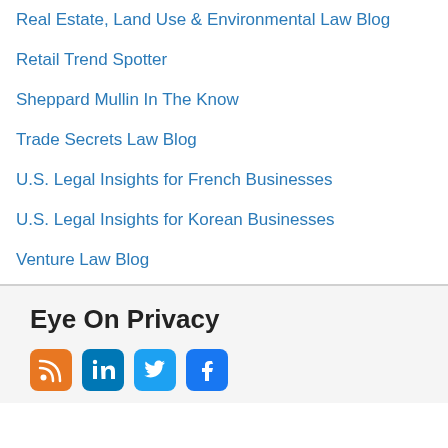Real Estate, Land Use & Environmental Law Blog
Retail Trend Spotter
Sheppard Mullin In The Know
Trade Secrets Law Blog
U.S. Legal Insights for French Businesses
U.S. Legal Insights for Korean Businesses
Venture Law Blog
Eye On Privacy
[Figure (logo): Four social media icons: RSS (orange), LinkedIn (blue), Twitter (light blue), Facebook (blue)]